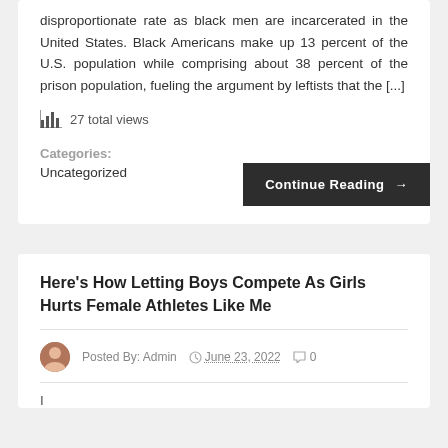disproportionate rate as black men are incarcerated in the United States. Black Americans make up 13 percent of the U.S. population while comprising about 38 percent of the prison population, fueling the argument by leftists that the [...]
27 total views
Categories: Uncategorized
Continue Reading →
Here's How Letting Boys Compete As Girls Hurts Female Athletes Like Me
Posted By: Admin  June 23, 2022  0
I